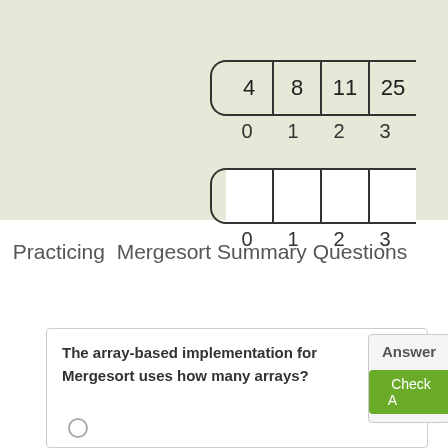[Figure (illustration): Top portion shows a beige/olive background panel with two array diagrams. First array shows cells with values 4, 8, 11, 25 (partially visible) and index labels 0, 1, 2, 3. Second array shows empty cells with index labels 0, 1, 2, 3. Both arrays have rounded bracket on the left side.]
Practicing  Mergesort Summary Questions
The array-based implementation for Mergesort uses how many arrays?
Answer
Check Answer